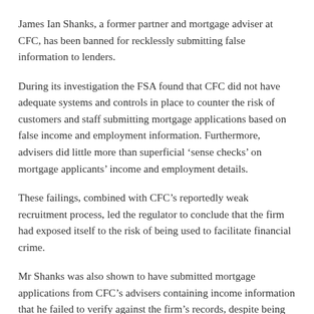James Ian Shanks, a former partner and mortgage adviser at CFC, has been banned for recklessly submitting false information to lenders.
During its investigation the FSA found that CFC did not have adequate systems and controls in place to counter the risk of customers and staff submitting mortgage applications based on false income and employment information. Furthermore, advisers did little more than superficial ‘sense checks’ on mortgage applicants’ income and employment details.
These failings, combined with CFC’s reportedly weak recruitment process, led the regulator to conclude that the firm had exposed itself to the risk of being used to facilitate financial crime.
Mr Shanks was also shown to have submitted mortgage applications from CFC’s advisers containing income information that he failed to verify against the firm’s records, despite being aware that such a check was possible.